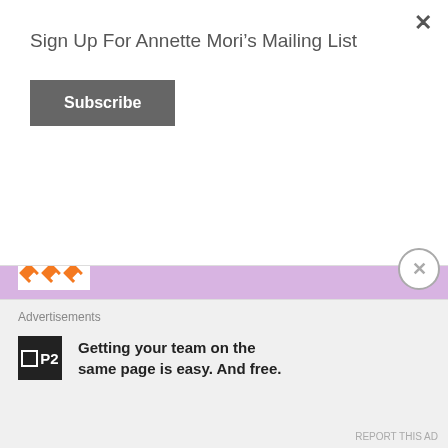×
Sign Up For Annette Mori's Mailing List
Subscribe
Amy Herman-Pall
February 18, 2017 at 10:06 pm  💬 Reply
I might need to do my own research!
★ Liked by 1 person
Advertisements
Getting your team on the same page is easy. And free.